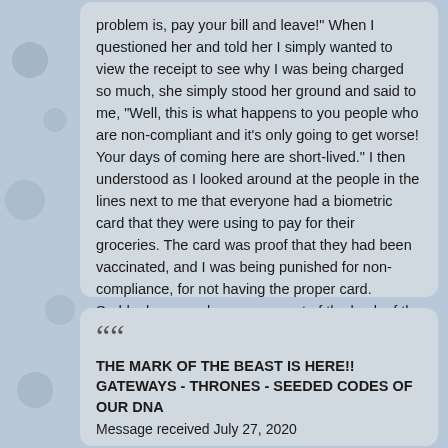problem is, pay your bill and leave!" When I questioned her and told her I simply wanted to view the receipt to see why I was being charged so much, she simply stood her ground and said to me, "Well, this is what happens to you people who are non-compliant and it's only going to get worse! Your days of coming here are short-lived." I then understood as I looked around at the people in the lines next to me that everyone had a biometric card that they were using to pay for their groceries. The card was proof that they had been vaccinated, and I was being punished for non-compliance, for not having the proper card. Suddenly, several men came out of the back of the store and quickly escorted me outside. At that point, I realized that I would not be able to come back to shop in the future.
THE MARK OF THE BEAST IS HERE!! GATEWAYS - THRONES - SEEDED CODES OF OUR DNA
Message received July 27, 2020
A great and formidable enemy seeks to enter into the very blood of My children through the altering of your DNA. Because of the curse that came about after the fall of the first man Adam, I came to make a way for you. You are renewed and made clean again by your belief and salvation in Me, your King and Messiah, sent by My